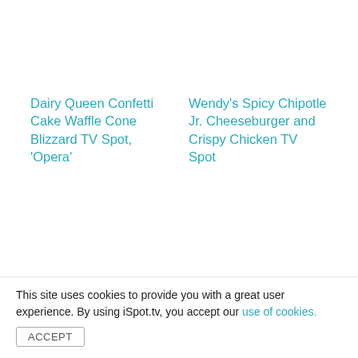Dairy Queen Confetti Cake Waffle Cone Blizzard TV Spot, 'Opera'
Wendy's Spicy Chipotle Jr. Cheeseburger and Crispy Chicken TV Spot
Related Advertisers
McDonald's
This site uses cookies to provide you with a great user experience. By using iSpot.tv, you accept our use of cookies.
ACCEPT